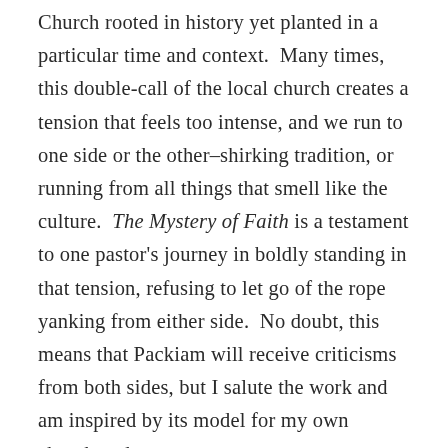Church rooted in history yet planted in a particular time and context.  Many times, this double-call of the local church creates a tension that feels too intense, and we run to one side or the other–shirking tradition, or running from all things that smell like the culture.  The Mystery of Faith is a testament to one pastor's journey in boldly standing in that tension, refusing to let go of the rope yanking from either side.  No doubt, this means that Packiam will receive criticisms from both sides, but I salute the work and am inspired by its model for my own church and context.
Taking one further step back, know that this album